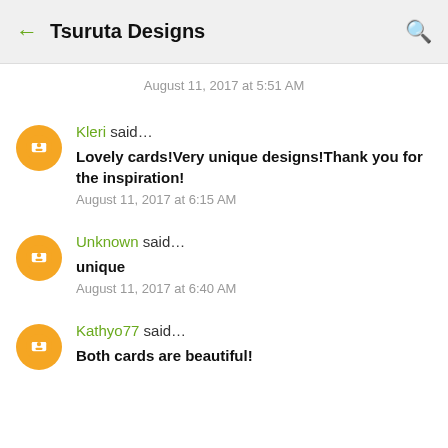← Tsuruta Designs 🔍
August 11, 2017 at 5:51 AM
Kleri said… Lovely cards!Very unique designs!Thank you for the inspiration! August 11, 2017 at 6:15 AM
Unknown said… unique August 11, 2017 at 6:40 AM
Kathyo77 said… Both cards are beautiful!